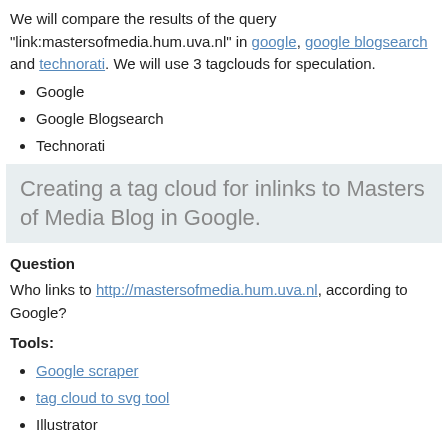We will compare the results of the query "link:mastersofmedia.hum.uva.nl" in google, google blogsearch and technorati. We will use 3 tagclouds for speculation.
Google
Google Blogsearch
Technorati
Creating a tag cloud for inlinks to Masters of Media Blog in Google.
Question
Who links to http://mastersofmedia.hum.uva.nl, according to Google?
Tools:
Google scraper
tag cloud to svg tool
Illustrator
Method:
Use Google scraper with query